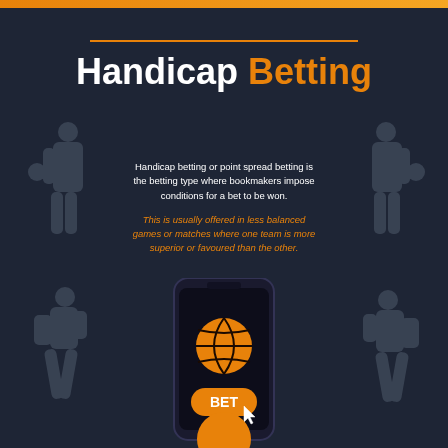Handicap Betting
Handicap betting or point spread betting is the betting type where bookmakers impose conditions for a bet to be won.
This is usually offered in less balanced games or matches where one team is more superior or favoured than the other.
[Figure (illustration): Infographic showing basketball player silhouettes around a smartphone displaying a basketball and a BET button with cursor icon. Orange top bar and decorative line above title.]